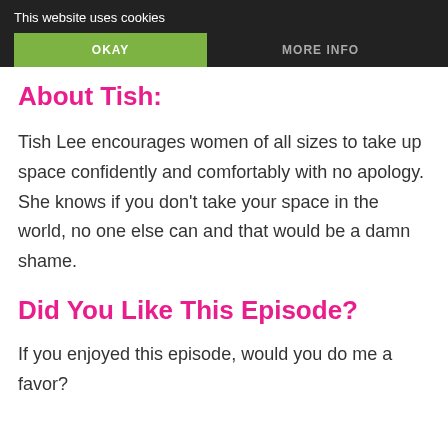This website uses cookies
OKAY
MORE INFO
About Tish:
Tish Lee encourages women of all sizes to take up space confidently and comfortably with no apology. She knows if you don't take your space in the world, no one else can and that would be a damn shame.
Did You Like This Episode?
If you enjoyed this episode, would you do me a favor?